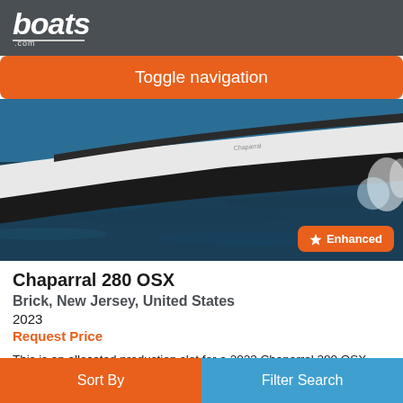boats.com
Toggle navigation
[Figure (photo): A Chaparral 280 OSX boat speeding across dark ocean water, shot from a low angle showing the hull and bow elevated above the water with white wake spray visible at the stern. The boat is white and black.]
Enhanced
Chaparral 280 OSX
Brick, New Jersey, United States
2023
Request Price
This is an allocated production slot for a 2023 Chaparral 280 OSX. We are still able to customize this production slot for the individual purchasing it.  Please call our professional sales staff today for all the details.
Sort By | Filter Search